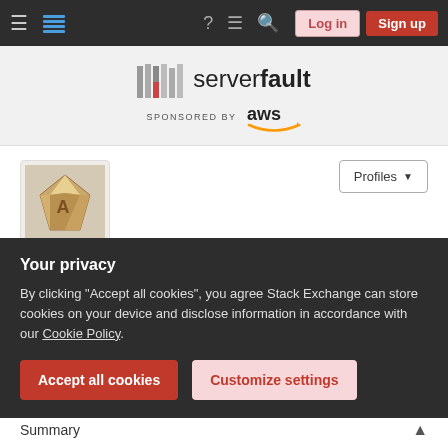Server Fault navigation bar with hamburger menu, logo, help, chat, search icons, Log in and Sign up buttons
[Figure (logo): Server Fault logo with bar-chart icon and 'serverfault' text, sponsored by AWS]
[Figure (photo): User avatar image for Hagen von Eitzen]
Hagen von Eitzen
Member for 9 years, 9 months   Last seen this week
Your privacy
By clicking "Accept all cookies", you agree Stack Exchange can store cookies on your device and disclose information in accordance with our Cookie Policy.
Accept all cookies   Customize settings
Summary